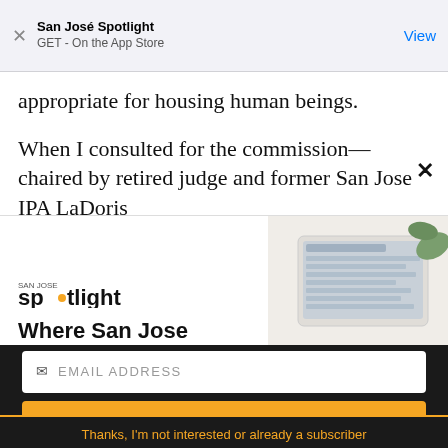San José Spotlight
GET - On the App Store
appropriate for housing human beings.
When I consulted for the commission—chaired by retired judge and former San Jose IPA LaDoris
[Figure (screenshot): San José Spotlight advertisement: logo with 'spotlight' text and yellow dot, tagline 'Where San Jose locals start the day.', website sanjosespotlight.com, tablet/device image on right side]
EMAIL ADDRESS
SUBSCRIBE
Thanks, I'm not interested or already a subscriber